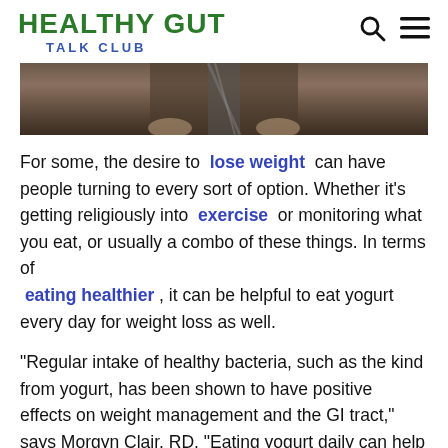HEALTHY GUT TALK CLUB
[Figure (photo): Cropped photo of a person sitting, wearing a dark jacket with a patterned tie, hands resting on lap]
For some, the desire to lose weight can have people turning to every sort of option. Whether it's getting religiously into exercise or monitoring what you eat, or usually a combo of these things. In terms of eating healthier, it can be helpful to eat yogurt every day for weight loss as well.
“Regular intake of healthy bacteria, such as the kind from yogurt, has been shown to have positive effects on weight management and the GI tract,” says Morgyn Clair, RD. “Eating yogurt daily can help you reach a healthy weight while still providing a satisfying snack.”